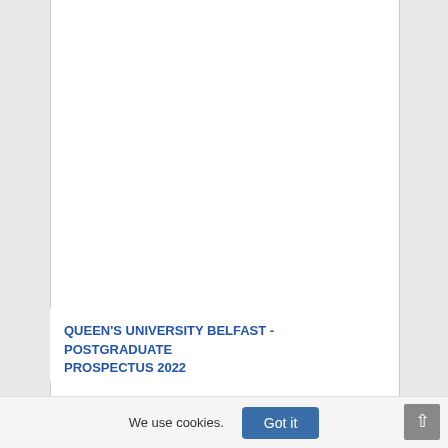[Figure (photo): Aerial photograph of Queen's University Belfast campus showing Gothic Revival architecture buildings (Lanyon Building), green grounds, against an overcast sky. University logo and text overlaid in the top-left. Text overlay reads 'SHAPING A BETTER WORLD SINCE 1845 / POSTGRADUATE PROSPECTUS 2022'. Russell Group logo in bottom-right corner of the photo.]
QUEEN'S UNIVERSITY BELFAST - POSTGRADUATE PROSPECTUS 2022
We use cookies.